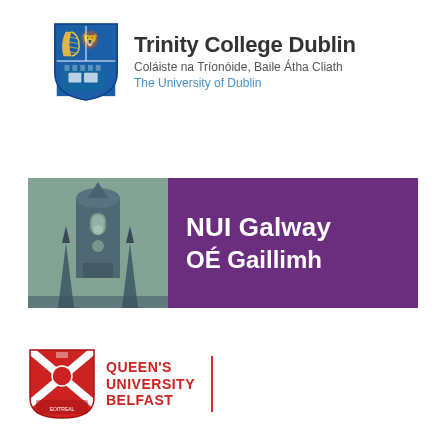[Figure (logo): Trinity College Dublin logo with blue shield bearing a harp and lion, and text 'Trinity College Dublin / Coláiste na Tríonóide, Baile Átha Cliath / The University of Dublin']
[Figure (logo): NUI Galway / OÉ Gaillimh logo with gray-blue illustration of Quadrangle tower on left and purple rectangle with white text on right]
[Figure (logo): Queen's University Belfast logo with red diagonal cross shield and red bold text 'QUEEN'S UNIVERSITY BELFAST' with red vertical divider line]